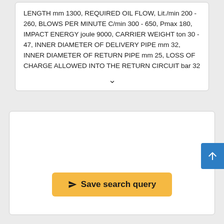LENGTH mm 1300, REQUIRED OIL FLOW, Lit./min 200 - 260, BLOWS PER MINUTE C/min 300 - 650, Pmax 180, IMPACT ENERGY joule 9000, CARRIER WEIGHT ton 30 - 47, INNER DIAMETER OF DELIVERY PIPE mm 32, INNER DIAMETER OF RETURN PIPE mm 25, LOSS OF CHARGE ALLOWED INTO THE RETURN CIRCUIT bar 32
[Figure (other): Collapsed/expandable card section with a chevron down indicator]
[Figure (other): Empty white card panel below the specification text card]
Save search query